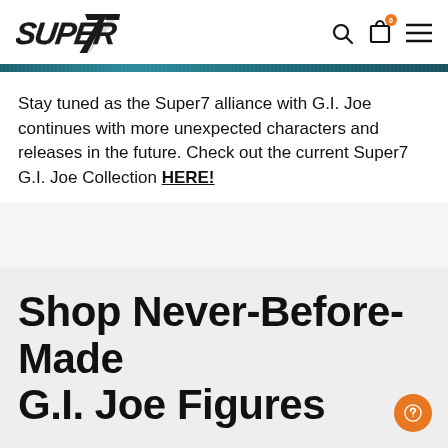[Figure (logo): Super7 brand logo in stylized italic font with angular design]
Stay tuned as the Super7 alliance with G.I. Joe continues with more unexpected characters and releases in the future. Check out the current Super7 G.I. Joe Collection HERE!
Shop Never-Before-Made G.I. Joe Figures